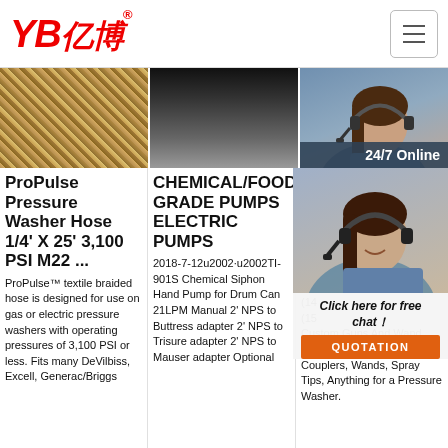YB亿博
[Figure (photo): Three banner images: braided hose texture, dark hose/pipe, person with headset showing 24/7 Online badge]
ProPulse Pressure Washer Hose 1/4' X 25' 3,100 PSI M22 ...
ProPulse™ textile braided hose is designed for use on gas or electric pressure washers with operating pressures of 3,100 PSI or less. Fits many DeVilbiss, Excell, Generac/Briggs
CHEMICAL/FOOD GRADE PUMPS ELECTRIC PUMPS
2018-7-12u2002·u2002TI-901S Chemical Siphon Hand Pump for Drum Can 21LPM Manual 2' NPS to Buttress adapter 2' NPS to Trisure adapter 2' NPS to Mauser adapter Optional
Pro Wa
Wel Pre Out Pre Acc (14 (15 Custom Guns And Wand Assemblies, OEM Seal Kits, Couplers, Wands, Spray Tips, Anything for a Pressure Washer. We Strive To Sell...
[Figure (photo): Customer service representative with headset, chat overlay with 'Click here for free chat!' text and QUOTATION button]